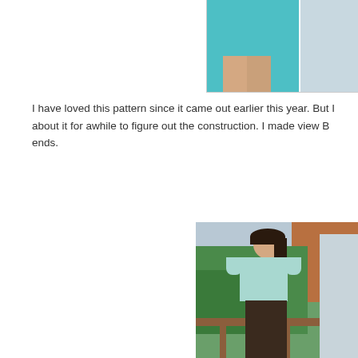[Figure (photo): Partial photo at top right showing a woman in a teal/turquoise skirt and a red lamp stand, cropped at the top of the page.]
I have loved this pattern since it came out earlier this year. But I about it for awhile to figure out the construction. I made view B ends.
[Figure (photo): Photo of a woman standing outdoors on a deck, wearing a light blue/mint short-sleeve blouse with a keyhole/tie neckline and dark brown trousers. Green foliage and a wooden railing visible in the background.]